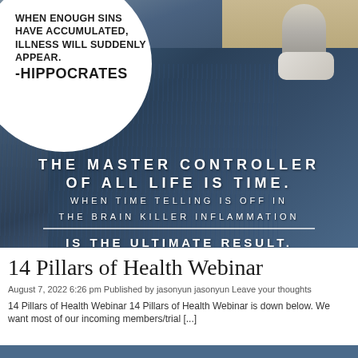[Figure (photo): Composite image: upper portion shows a person sitting/reclining in jeans holding a coffee cup, with a white circle overlay in top-left containing a Hippocrates quote in bold black text. Center of image has bold white spaced text overlaid on the photo reading health/inflammation quotes.]
14 Pillars of Health Webinar
August 7, 2022 6:26 pm Published by jasonyun jasonyun Leave your thoughts
14 Pillars of Health Webinar 14 Pillars of Health Webinar is down below. We want most of our incoming members/trial [...]